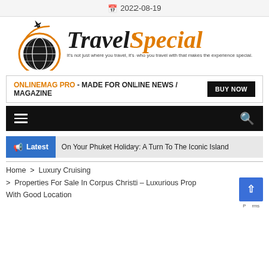2022-08-19
[Figure (logo): TravelSpecial logo with globe and airplane icon. Text reads 'TravelSpecial' with tagline 'It's not just where you travel, it's who you travel with that makes the experience special.']
ONLINEMAG PRO - MADE FOR ONLINE NEWS / MAGAZINE [BUY NOW]
[Figure (screenshot): Black navigation bar with hamburger menu icon on left and search icon on right]
Latest  On Your Phuket Holiday: A Turn To The Iconic Island
Home > Luxury Cruising > Properties For Sale In Corpus Christi – Luxurious Prop... With Good Location